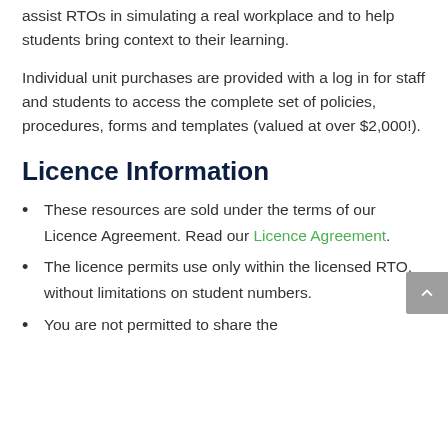assist RTOs in simulating a real workplace and to help students bring context to their learning.
Individual unit purchases are provided with a log in for staff and students to access the complete set of policies, procedures, forms and templates (valued at over $2,000!).
Licence Information
These resources are sold under the terms of our Licence Agreement. Read our Licence Agreement.
The licence permits use only within the licensed RTO, without limitations on student numbers.
You are not permitted to share the